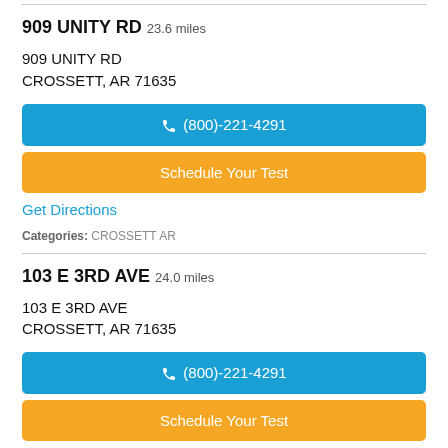909 UNITY RD 23.6 miles
909 UNITY RD
CROSSETT, AR 71635
(800)-221-4291
Schedule Your Test
Get Directions
Categories: CROSSETT AR
103 E 3RD AVE 24.0 miles
103 E 3RD AVE
CROSSETT, AR 71635
(800)-221-4291
Schedule Your Test